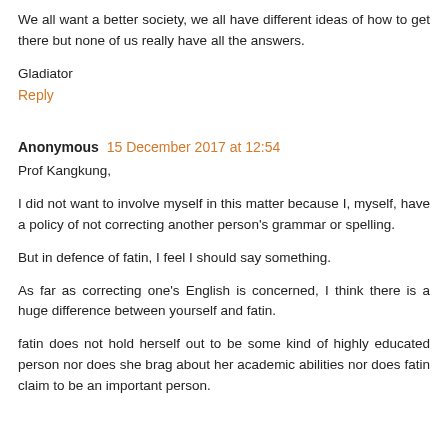We all want a better society, we all have different ideas of how to get there but none of us really have all the answers.
Gladiator
Reply
Anonymous  15 December 2017 at 12:54
Prof Kangkung,
I did not want to involve myself in this matter because I, myself, have a policy of not correcting another person's grammar or spelling.
But in defence of fatin, I feel I should say something.
As far as correcting one's English is concerned, I think there is a huge difference between yourself and fatin.
fatin does not hold herself out to be some kind of highly educated person nor does she brag about her academic abilities nor does fatin claim to be an important person.